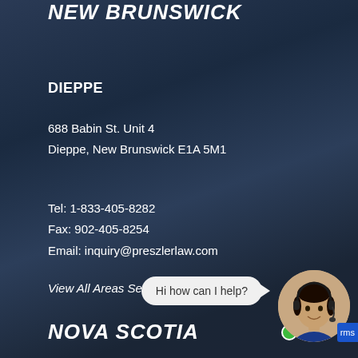NEW BRUNSWICK
DIEPPE
688 Babin St. Unit 4
Dieppe, New Brunswick E1A 5M1
Tel: 1-833-405-8282
Fax: 902-405-8254
Email: inquiry@preszlerlaw.com
View All Areas Served
NOVA SCOTIA
Hi how can I help?